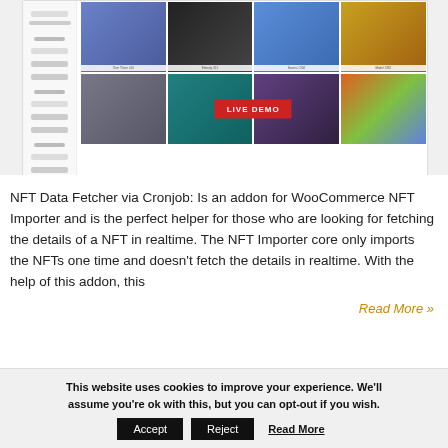[Figure (screenshot): Screenshot of a WooCommerce NFT Importer interface showing a sidebar with filters (Collections, Purchase Coin, Status) and a grid of NFT images labeled Over Thore #44, Eternity #01, flowers #204, Model #332, and a red LIVE DEMO button overlay]
NFT Data Fetcher via Cronjob: Is an addon for WooCommerce NFT Importer and is the perfect helper for those who are looking for fetching the details of a NFT in realtime. The NFT Importer core only imports the NFTs one time and doesn't fetch the details in realtime. With the help of this addon, this
Read More »
This website uses cookies to improve your experience. We'll assume you're ok with this, but you can opt-out if you wish.
Accept
Reject
Read More